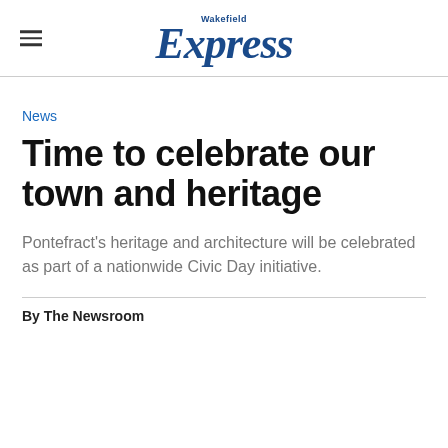Wakefield Express
News
Time to celebrate our town and heritage
Pontefract's heritage and architecture will be celebrated as part of a nationwide Civic Day initiative.
By The Newsroom